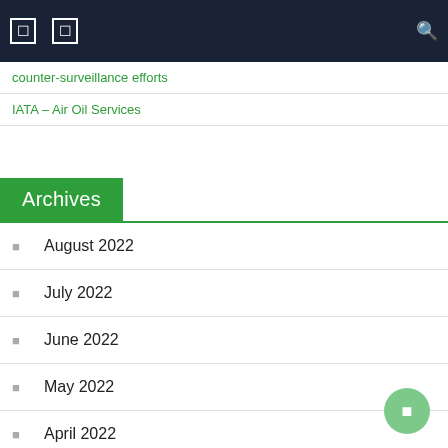Navigation bar with icons and search
counter-surveillance efforts
IATA – Air Oil Services
Archives
August 2022
July 2022
June 2022
May 2022
April 2022
March 2022